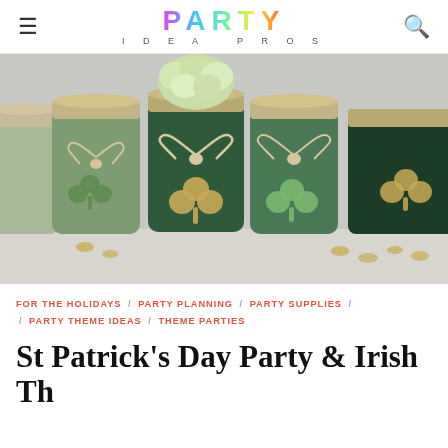PARTY IDEA PROS
[Figure (photo): Green and dark green mason jars decorated with glitter shamrocks and twine bows, with white/green hydrangea flowers in the background, arranged on a light surface with scattered gold coins.]
FOR THE HOLIDAYS / PARTY PLANNING / PARTY SUPPLIES / PARTY THEME IDEAS / THEME PARTIES
St Patrick's Day Party & Irish Theme Party Ideas